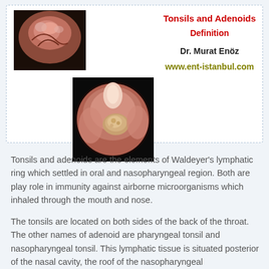[Figure (photo): Endoscopic/medical photograph of throat/tonsil area, top left of card]
Tonsils and Adenoids
Definition
Dr. Murat Enöz
www.ent-istanbul.com
[Figure (photo): Endoscopic/medical photograph showing adenoid/tonsil tissue, bottom center of card]
Tonsils and adenoids are the elements of Waldeyer's lymphatic ring which settled in oral and nasopharyngeal region. Both are play role in immunity against airborne microorganisms which inhaled through the mouth and nose.
The tonsils are located on both sides of the back of the throat. The other names of adenoid are pharyngeal tonsil and nasopharyngeal tonsil. This lymphatic tissue is situated posterior of the nasal cavity, the roof of the nasopharyngeal